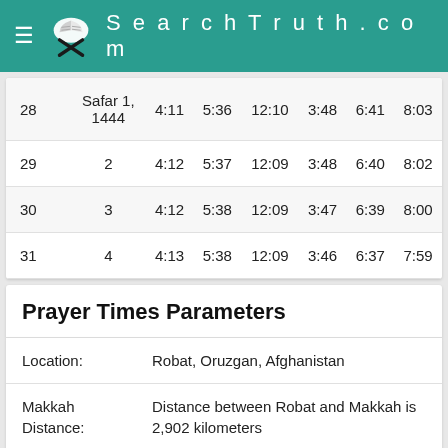SearchTruth.com
| Day | Islamic Date | Col3 | Col4 | Col5 | Col6 | Col7 | Col8 |
| --- | --- | --- | --- | --- | --- | --- | --- |
| 28 | Safar 1, 1444 | 4:11 | 5:36 | 12:10 | 3:48 | 6:41 | 8:03 |
| 29 | 2 | 4:12 | 5:37 | 12:09 | 3:48 | 6:40 | 8:02 |
| 30 | 3 | 4:12 | 5:38 | 12:09 | 3:47 | 6:39 | 8:00 |
| 31 | 4 | 4:13 | 5:38 | 12:09 | 3:46 | 6:37 | 7:59 |
Prayer Times Parameters
Location: Robat, Oruzgan, Afghanistan
Makkah Distance: Distance between Robat and Makkah is 2,902 kilometers
Madina Distance between Robat and Madina is 2,744